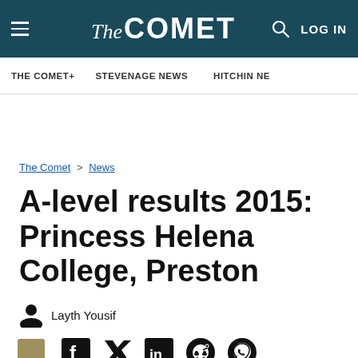The Comet — LOG IN
THE COMET+ | STEVENAGE NEWS | HITCHIN NE
The Comet > News
A-level results 2015: Princess Helena College, Preston
Layth Yousif